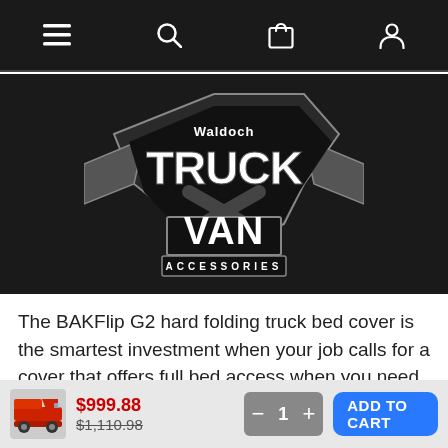Navigation bar with menu, search, cart, and account icons
[Figure (logo): Waldoch Truck Van Accessories logo on dark background — stylized truck shape with bold text TRUCK VAN and ACCESSORIES below]
The BAKFlip G2 hard folding truck bed cover is the smartest investment when your job calls for a cover that offers full bed access when you need it, and maximum theft protection when you don't. The all-new integrated buckle system allows you to drive with your cover folded, flipped up or closed. Our patented latch
$999.88  $1,110.98  [product thumbnail]  — 1 +  ADD TO CART